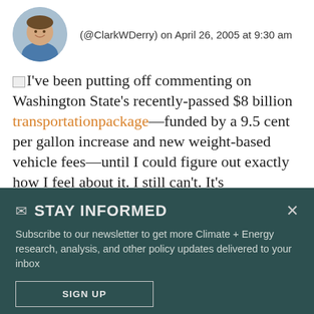[Figure (photo): Circular avatar photo of a smiling man in a blue shirt]
(@ClarkWDerry) on April 26, 2005 at 9:30 am
I've been putting off commenting on Washington State's recently-passed $8 billion transportation package—funded by a 9.5 cent per gallon increase and new weight-based vehicle fees—until I could figure out exactly how I feel about it. I still can't. It's
✉ STAY INFORMED
Subscribe to our newsletter to get more Climate + Energy research, analysis, and other policy updates delivered to your inbox
SIGN UP